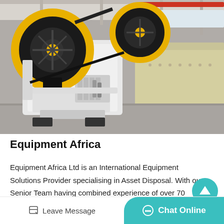[Figure (photo): Industrial jaw crusher machine with large yellow flywheel, white painted body, photographed on a factory floor with other heavy equipment in the background]
Equipment Africa
Equipment Africa Ltd is an International Equipment Solutions Provider specialising in Asset Disposal. With our Senior Team having combined experience of over 70 years, we have the networ…
Leave Message   Chat Online